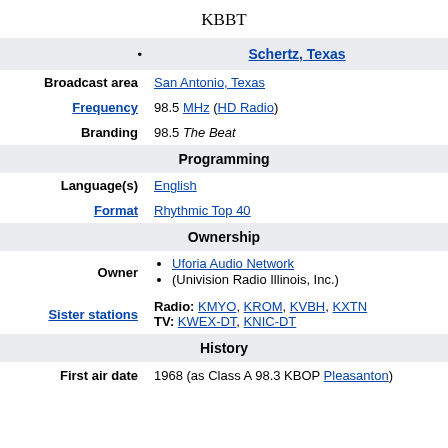KBBT
Schertz, Texas
| Field | Value |
| --- | --- |
| Broadcast area | San Antonio, Texas |
| Frequency | 98.5 MHz (HD Radio) |
| Branding | 98.5 The Beat |
| Programming |  |
| Language(s) | English |
| Format | Rhythmic Top 40 |
| Ownership |  |
| Owner | Uforia Audio Network / (Univision Radio Illinois, Inc.) |
| Sister stations | Radio: KMYO, KROM, KVBH, KXTN TV: KWEX-DT, KNIC-DT |
| History |  |
| First air date | 1968 (as Class A 98.3 KBOP Pleasanton) |